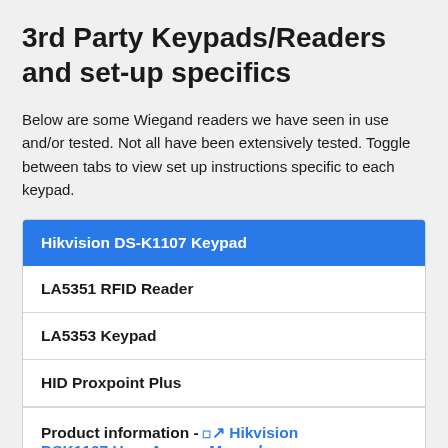3rd Party Keypads/Readers and set-up specifics
Below are some Wiegand readers we have seen in use and/or tested. Not all have been extensively tested. Toggle between tabs to view set up instructions specific to each keypad.
Hikvision DS-K1107 Keypad
LA5351 RFID Reader
LA5353 Keypad
HID Proxpoint Plus
Product information - ⧉ Hikvision DSK1107 User ​​​​​​ ​Access Manual